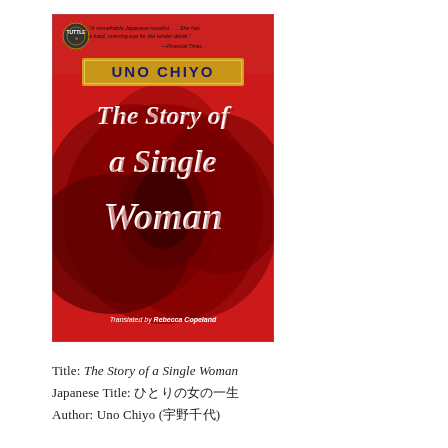[Figure (illustration): Book cover of 'The Story of a Single Woman' by Uno Chiyo, translated by Rebecca Copeland. Red background with large dark red rose image. Publisher logo and review quote at top. Author name 'UNO CHIYO' in gold box. Title 'The Story of a Single Woman' in large white serif font. Translator credit at bottom.]
Title: The Story of a Single Woman
Japanese Title: ひとりの女の一生
Author: Uno Chiyo (宇野千代)